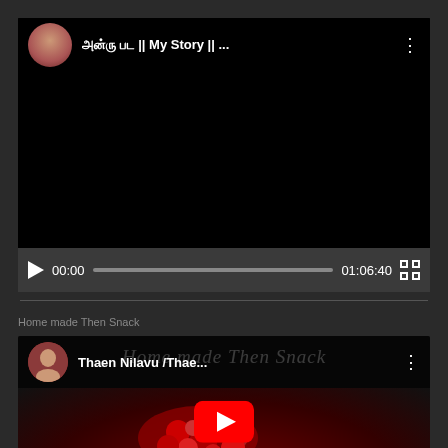[Figure (screenshot): YouTube video player showing a video titled in Tamil script followed by '|| My Story || ...' with a play button, time showing 00:00 and total duration 01:06:40, fullscreen button, and progress bar. Below a divider is another YouTube video thumbnail titled 'Thaen Nilavu /Thae...' with a red YouTube play button overlay on a food/berries image.]